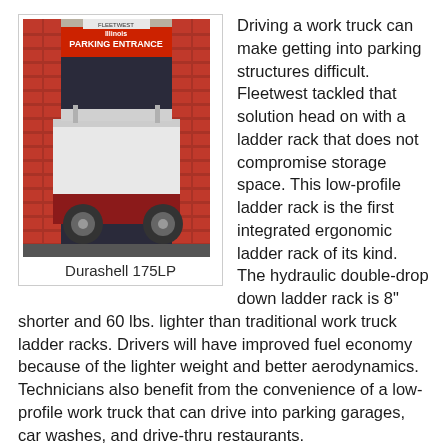[Figure (photo): A work truck (Durashell 175LP) displayed at a trade show booth featuring a mock brick wall with 'Parking Entrance' sign, demonstrating a low-profile ladder rack setup.]
Durashell 175LP
Driving a work truck can make getting into parking structures difficult. Fleetwest tackled that solution head on with a ladder rack that does not compromise storage space. This low-profile ladder rack is the first integrated ergonomic ladder rack of its kind. The hydraulic double-drop down ladder rack is 8" shorter and 60 lbs. lighter than traditional work truck ladder racks. Drivers will have improved fuel economy because of the lighter weight and better aerodynamics. Technicians also benefit from the convenience of a low-profile work truck that can drive into parking garages, car washes, and drive-thru restaurants.
Accessories that optimize service body space and make the